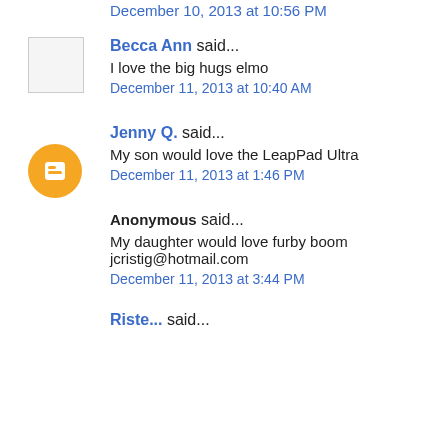December 10, 2013 at 10:56 PM
Becca Ann said...
I love the big hugs elmo
December 11, 2013 at 10:40 AM
Jenny Q. said...
My son would love the LeapPad Ultra
December 11, 2013 at 1:46 PM
Anonymous said...
My daughter would love furby boom jcristig@hotmail.com
December 11, 2013 at 3:44 PM
Riste... said...